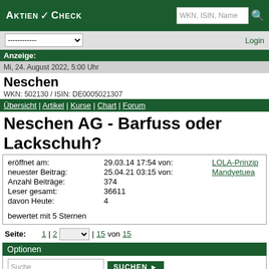AktienCheck
Mi, 24. August 2022, 5:00 Uhr
Neschen
WKN: 502130 / ISIN: DE0005021307
Übersicht | Artikel | Kurse | Chart | Forum
Neschen AG - Barfuss oder Lackschuh?
| Field | Value | Extra |
| --- | --- | --- |
| eröffnet am: | 29.03.14 17:54 von: | LOLA-Prinzip |
| neuester Beitrag: | 25.04.21 03:15 von: | Mandyetuea |
| Anzahl Beiträge: | 374 |  |
| Leser gesamt: | 36611 |  |
| davon Heute: | 4 |  |
bewertet mit 5 Sternen
Seite: 1 | 2 | 15 von 15
Optionen
Suche
Antwort einfügen
zum neuesten Beitrag